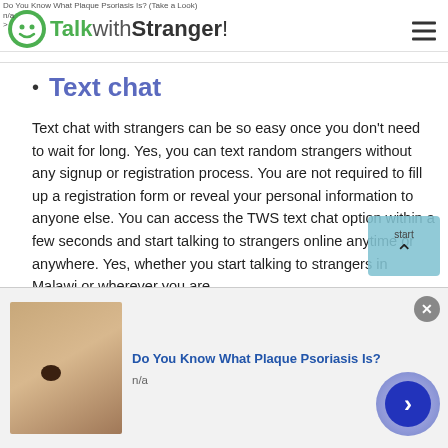TalkwithStranger!
Text chat
Text chat with strangers can be so easy once you don't need to wait for long. Yes, you can text random strangers without any signup or registration process. You are not required to fill up a registration form or reveal your personal information to anyone else. You can access the TWS text chat option within a few seconds and start talking to strangers online anytime or anywhere. Yes, whether you start talking to strangers in Malawi or wherever you are,
[Figure (screenshot): Ad banner at bottom: Do You Know What Plaque Psoriasis Is? with skin image, n/a label, and close button]
[Figure (other): Scroll-to-top button with upward chevron arrow]